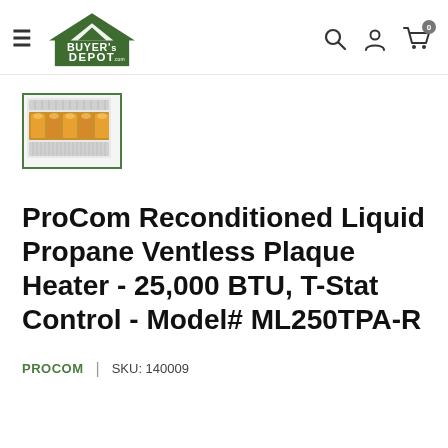Buyer's Depot .com — navigation header with hamburger menu, search, account, and cart icons
[Figure (photo): Thumbnail image of a ProCom ventless plaque wall heater with glowing burner elements, shown in a small thumbnail with green border]
ProCom Reconditioned Liquid Propane Ventless Plaque Heater - 25,000 BTU, T-Stat Control - Model# ML250TPA-R
PROCOM  |  SKU: 140009